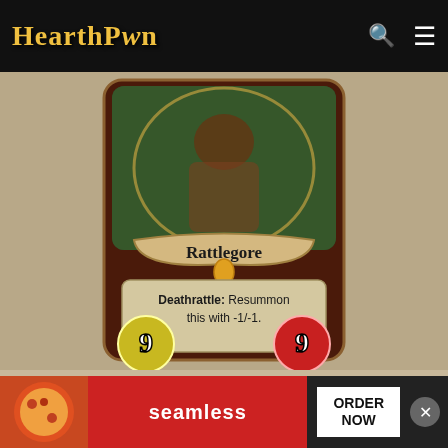HearthPwn
[Figure (illustration): Hearthstone card art for Rattlegore: a skeletal warrior character with glowing eyes, shown with attack value 9 and health value 9, card text reads 'Deathrattle: Resummon this with -1/-1.']
Rattlegore
Deathrattle: Resummon this with -1/-1.
Type: Minion
[Figure (screenshot): Advertisement banner for Seamless food delivery with pizza image, 'seamless' text, and 'ORDER NOW' button]